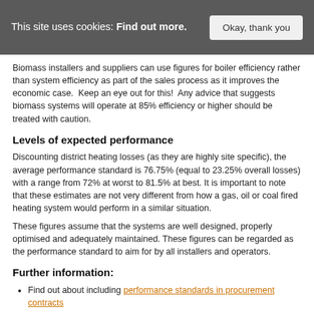This site uses cookies: Find out more.
Biomass installers and suppliers can use figures for boiler efficiency rather than system efficiency as part of the sales process as it improves the economic case.  Keep an eye out for this!  Any advice that suggests biomass systems will operate at 85% efficiency or higher should be treated with caution.
Levels of expected performance
Discounting district heating losses (as they are highly site specific), the average performance standard is 76.75% (equal to 23.25% overall losses) with a range from 72% at worst to 81.5% at best. It is important to note that these estimates are not very different from how a gas, oil or coal fired heating system would perform in a similar situation.
These figures assume that the systems are well designed, properly optimised and adequately maintained. These figures can be regarded as the performance standard to aim for by all installers and operators.
Further information:
Find out about including performance standards in procurement contracts
For more details on the performance of biomass systems see 'Desk based